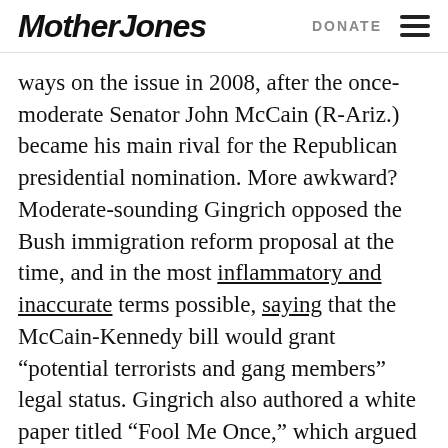Mother Jones | DONATE
ways on the issue in 2008, after the once-moderate Senator John McCain (R-Ariz.) became his main rival for the Republican presidential nomination. More awkward? Moderate-sounding Gingrich opposed the Bush immigration reform proposal at the time, and in the most inflammatory and inaccurate terms possible, saying that the McCain-Kennedy bill would grant “potential terrorists and gang members” legal status. Gingrich also authored a white paper titled “Fool Me Once,” which argued that the anti-illegal immigration enforcement promises made by Bush-era reform supporters would prove to be as empty as those made by supporters of the 1986 amnesty bill signed by